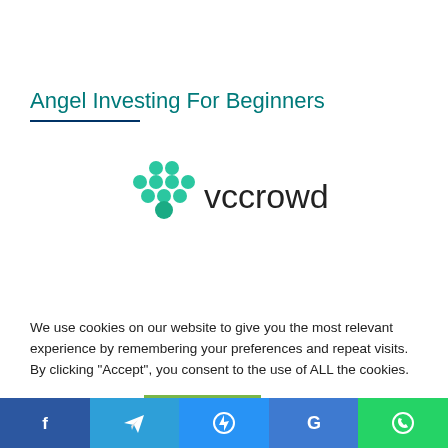Angel Investing For Beginners
[Figure (logo): VCCrowd logo: green grape-cluster icon on the left, 'vccrowd' text in dark lettering on the right]
We use cookies on our website to give you the most relevant experience by remembering your preferences and repeat visits. By clicking “Accept”, you consent to the use of ALL the cookies.
Cookie settings   ACCEPT